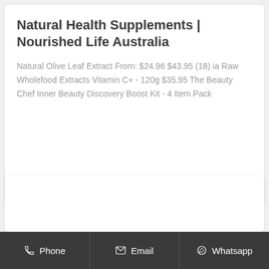Natural Health Supplements | Nourished Life Australia
Natural Olive Leaf Extract From: $24.96 $43.95 (18) ia Raw Wholefood Extracts Vitamin C+ - 120g $35.95 The Beauty Chef Inner Beauty Discovery Boost Kit - 4 Item Pack
Get Price
Phone  Email  Whatsapp